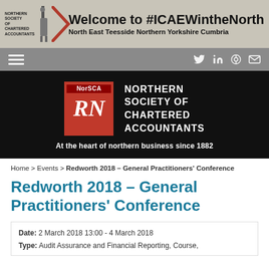[Figure (logo): Northern Society of Chartered Accountants banner with text 'Welcome to #ICAEWintheNorth' and subtitle 'North East Teesside Northern Yorkshire Cumbria']
[Figure (logo): Navigation bar with hamburger menu and social media icons (Twitter, LinkedIn, Pinterest, Email)]
[Figure (logo): NorSCA Northern Society of Chartered Accountants logo on black background with tagline 'At the heart of northern business since 1882']
Home > Events > Redworth 2018 – General Practitioners' Conference
Redworth 2018 – General Practitioners' Conference
Date: 2 March 2018 13:00 - 4 March 2018
Type: Audit Assurance and Financial Reporting, Course,